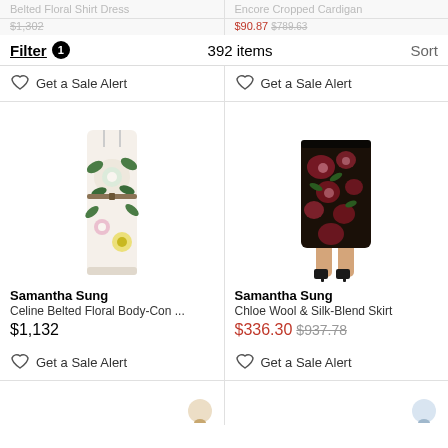Belted Floral Shirt Dress | $1,302 | Encore Cropped Cardigan
Filter 1 | 392 items | $90.87 $789.63 | Sort
Get a Sale Alert | Get a Sale Alert
[Figure (photo): Samantha Sung Celine Belted Floral Body-Con dress on white background]
[Figure (photo): Samantha Sung Chloe Wool & Silk-Blend Skirt shown on model legs, dark floral print]
Samantha Sung
Celine Belted Floral Body-Con ...
$1,132
Samantha Sung
Chloe Wool & Silk-Blend Skirt
$336.30 $937.78
Get a Sale Alert | Get a Sale Alert